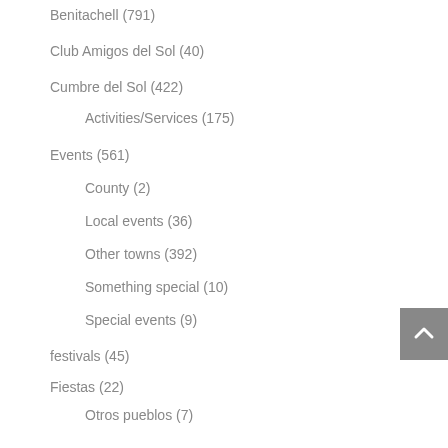Benitachell (791)
Club Amigos del Sol (40)
Cumbre del Sol (422)
Activities/Services (175)
Events (561)
County (2)
Local events (36)
Other towns (392)
Something special (10)
Special events (9)
festivals (45)
Fiestas (22)
Otros pueblos (7)
Grupo VAPF (67)
Lettings (1)
Villas (1)